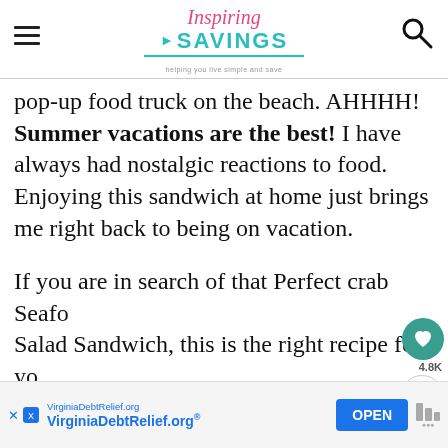Inspiring SAVINGS — helping you live simple and save
pop-up food truck on the beach. AHHHH! Summer vacations are the best! I have always had nostalgic reactions to food. Enjoying this sandwich at home just brings me right back to being on vacation.
If you are in search of that Perfect crab Seafood Salad Sandwich, this is the right recipe for you. This offers a delicious seafood roll with throughout, all on a toasted split-top bun. This cold or din
[Figure (other): Advertisement banner: VirginiaDebtRelief.org with OPEN button]
[Figure (other): Social sharing overlay with heart button (4.8K) and share button, and WHAT'S NEXT Waffle Brownie Ice... widget]